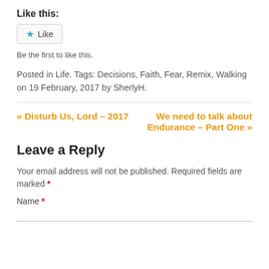Like this:
[Figure (other): Like button widget with blue star icon and 'Like' text in a rounded rectangle border]
Be the first to like this.
Posted in Life. Tags: Decisions, Faith, Fear, Remix, Walking on 19 February, 2017 by SherlyH.
« Disturb Us, Lord – 2017
We need to talk about Endurance – Part One »
Leave a Reply
Your email address will not be published. Required fields are marked *
Name *